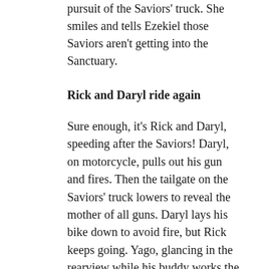pursuit of the Saviors' truck. She smiles and tells Ezekiel those Saviors aren't getting into the Sanctuary.
Rick and Daryl ride again
Sure enough, it's Rick and Daryl, speeding after the Saviors! Daryl, on motorcycle, pulls out his gun and fires. Then the tailgate on the Saviors' truck lowers to reveal the mother of all guns. Daryl lays his bike down to avoid fire, but Rick keeps going. Yago, glancing in the rearview while his buddy works the gun, is distracted. He crashes into some wandering walkers, swerving wildly and knocking the gunman off balance. Rick closes the distance and as the gunman resumes firing, Rick pulls to the side because TADAHHHH! It's Daryl! He's back on the motorcycle and blazing away. He